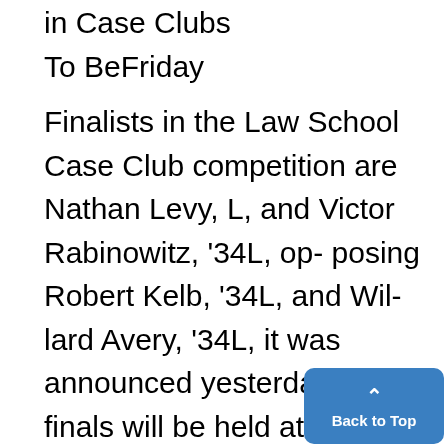in Case Clubs
To BeFriday
Finalists in the Law School Case Club competition are Nathan Levy, L, and Victor Rabinowitz, '34L, opposing Robert Kelb, '34L, and Willard Avery, '34L, it was announced yesterday. The finals will be held at 3 p. in., April 21 in the Lawyers Club. Levy and Rabinowitz represent Holmes Club, while Kelb and Avery represents Marshall Club. The four finalists are survivors of compe[tition] among 32 entrants split into 16[...]